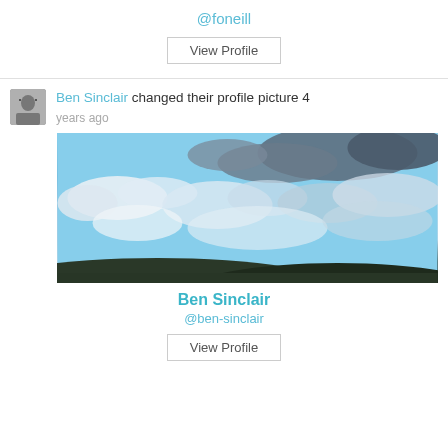@foneill
View Profile
Ben Sinclair changed their profile picture 4 years ago
[Figure (photo): Sky with clouds and dark hills at the bottom — Ben Sinclair profile cover photo]
Ben Sinclair
@ben-sinclair
View Profile